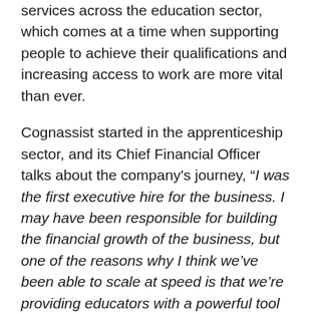services across the education sector, which comes at a time when supporting people to achieve their qualifications and increasing access to work are more vital than ever.
Cognassist started in the apprenticeship sector, and its Chief Financial Officer talks about the company's journey, “I was the first executive hire for the business. I may have been responsible for building the financial growth of the business, but one of the reasons why I think we’ve been able to scale at speed is that we’re providing educators with a powerful tool that can help to identify learners who may struggle in education and provide them with better support.